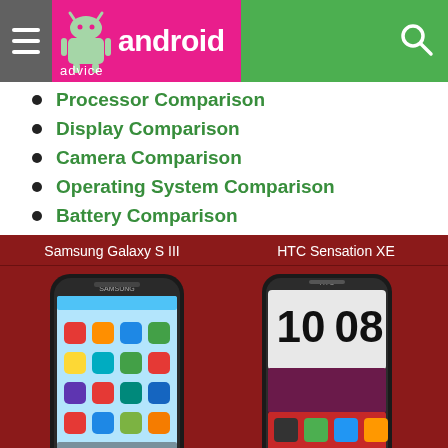android advice
Processor Comparison
Display Comparison
Camera Comparison
Operating System Comparison
Battery Comparison
[Figure (photo): Comparison image showing Samsung Galaxy S III and HTC Sensation XE smartphones side by side on a dark red background]